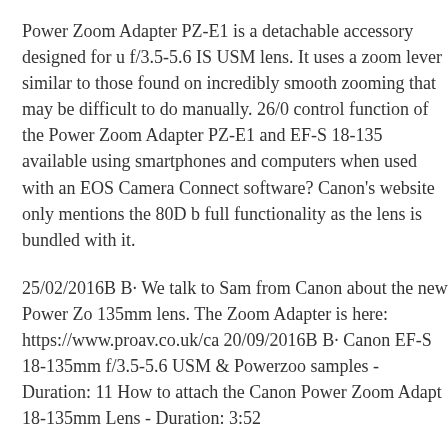Power Zoom Adapter PZ-E1 is a detachable accessory designed for u f/3.5-5.6 IS USM lens. It uses a zoom lever similar to those found on incredibly smooth zooming that may be difficult to do manually. 26/0 control function of the Power Zoom Adapter PZ-E1 and EF-S 18-135 available using smartphones and computers when used with an EOS Camera Connect software? Canon's website only mentions the 80D b full functionality as the lens is bundled with it.
25/02/2016B B· We talk to Sam from Canon about the new Power Zo 135mm lens. The Zoom Adapter is here: https://www.proav.co.uk/ca 20/09/2016B B· Canon EF-S 18-135mm f/3.5-5.6 USM & Powerzoo samples - Duration: 11 How to attach the Canon Power Zoom Adapt 18-135mm Lens - Duration: 3:52
25/02/2016B B· We talk to Sam from Canon about the new Power Zo 135mm lens. The Zoom Adapter is here: https://www.proav.co.uk/ca 21/07/2017B B· Read all Canon Power Zoom Adapter PZ-E1 For EC Full Review. Buying new Computers products, whether online or in-